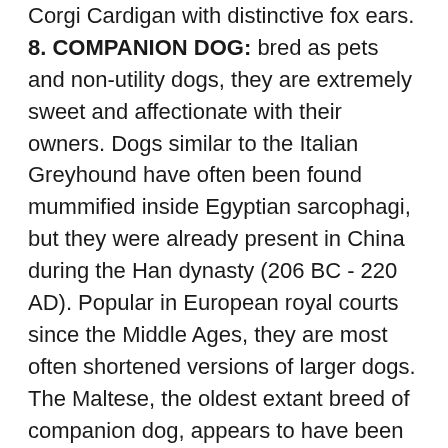Corgi Cardigan with distinctive fox ears.
8. COMPANION DOG: bred as pets and non-utility dogs, they are extremely sweet and affectionate with their owners. Dogs similar to the Italian Greyhound have often been found mummified inside Egyptian sarcophagi, but they were already present in China during the Han dynasty (206 BC - 220 AD). Popular in European royal courts since the Middle Ages, they are most often shortened versions of larger dogs. The Maltese, the oldest extant breed of companion dog, appears to have been introduced to Europe by Phoenician merchants in 500 BC. This group includes a great variety of structures and sizes.
9. HUNTING DOG: very intelligent, docile, obedient and sensitives. They were originally hunting companions who had to chase game and bring the prey back to the master. Their deeply loyalty has